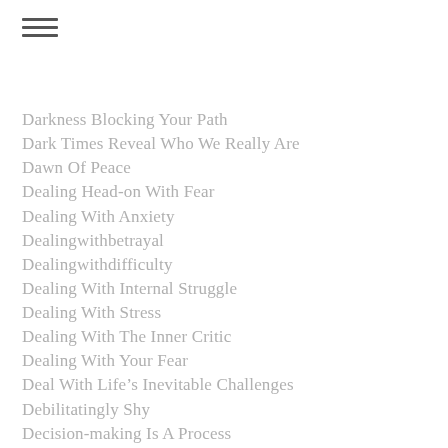Darkness Blocking Your Path
Dark Times Reveal Who We Really Are
Dawn Of Peace
Dealing Head-on With Fear
Dealing With Anxiety
Dealingwithbetrayal
Dealingwithdifficulty
Dealing With Internal Struggle
Dealing With Stress
Dealing With The Inner Critic
Dealing With Your Fear
Deal With Life's Inevitable Challenges
Debilitatingly Shy
Decision-making Is A Process
Decision-making Is A Process That Is Not Final
Decisions To Leave A Career
Decrease Fear
Decrease Your Anxiety